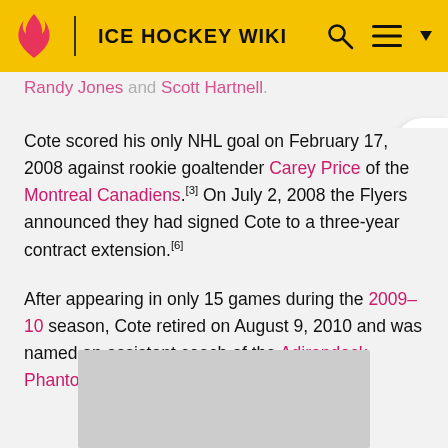ICE HOCKEY WIKI
Randy Jones and Scott Hartnell.
Cote scored his only NHL goal on February 17, 2008 against rookie goaltender Carey Price of the Montreal Canadiens.[3] On July 2, 2008 the Flyers announced they had signed Cote to a three-year contract extension.[6]
After appearing in only 15 games during the 2009–10 season, Cote retired on August 9, 2010 and was named an assistant coach of the Adirondack Phantoms.[7]
[Figure (photo): Gray image placeholder at bottom of page]